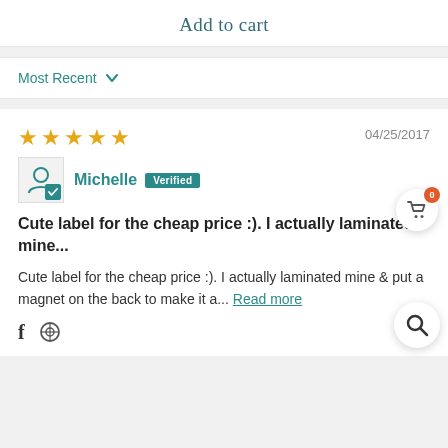Add to cart
Most Recent
04/25/2017
Michelle  Verified
Cute label for the cheap price :). I actually laminated mine...
Cute label for the cheap price :). I actually laminated mine & put a magnet on the back to make it a... Read more